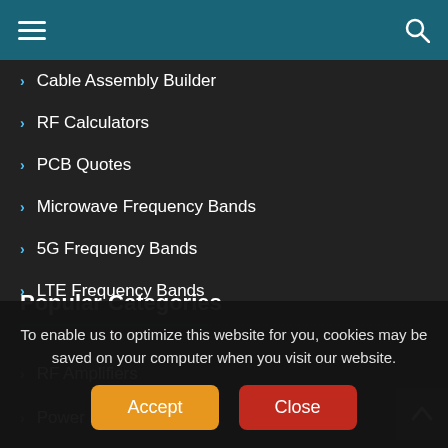Menu / Search header bar
Cable Assembly Builder
RF Calculators
PCB Quotes
Microwave Frequency Bands
5G Frequency Bands
LTE Frequency Bands
Popular Categories
RF Amplifiers
Power Dividers
To enable us to optimize this website for you, cookies may be saved on your computer when you visit our website.